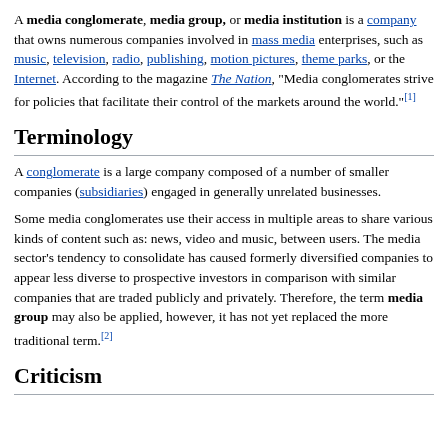A media conglomerate, media group, or media institution is a company that owns numerous companies involved in mass media enterprises, such as music, television, radio, publishing, motion pictures, theme parks, or the Internet. According to the magazine The Nation, "Media conglomerates strive for policies that facilitate their control of the markets around the world."[1]
Terminology
A conglomerate is a large company composed of a number of smaller companies (subsidiaries) engaged in generally unrelated businesses.
Some media conglomerates use their access in multiple areas to share various kinds of content such as: news, video and music, between users. The media sector's tendency to consolidate has caused formerly diversified companies to appear less diverse to prospective investors in comparison with similar companies that are traded publicly and privately. Therefore, the term media group may also be applied, however, it has not yet replaced the more traditional term.[2]
Criticism